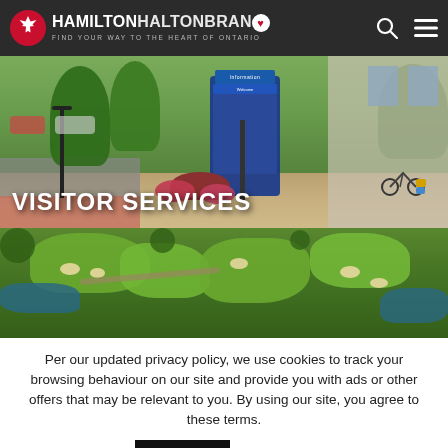HAMILTON HALTON BRANT — FIND YOUR WAY TO THE HEART OF ONTARIO
[Figure (screenshot): Hero image of a visitor information kiosk on a city sidewalk with flowers and bicycles. Text overlay reads VISITOR SERVICES. Below is an aerial photo of a golf course.]
Per our updated privacy policy, we use cookies to track your browsing behaviour on our site and provide you with ads or other offers that may be relevant to you. By using our site, you agree to these terms.
Accept  Read More